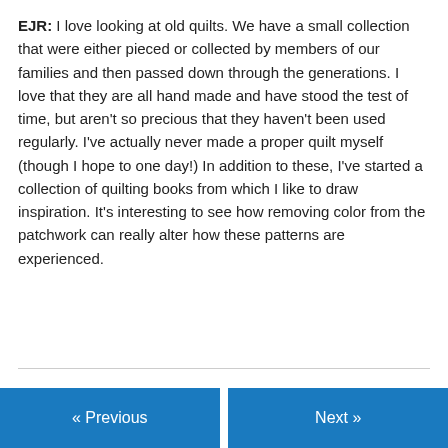EJR: I love looking at old quilts.  We have a small collection that were either pieced or collected by members of our families and then passed down through the generations.  I love that they are all hand made and have stood the test of time, but aren't so precious that they haven't been used regularly.  I've actually never made a proper quilt myself (though I hope to one day!)   In addition to these, I've started a collection of quilting books from which I like to draw inspiration.  It's interesting to see how removing color from the patchwork can really alter how these patterns are experienced.
« Previous   Next »